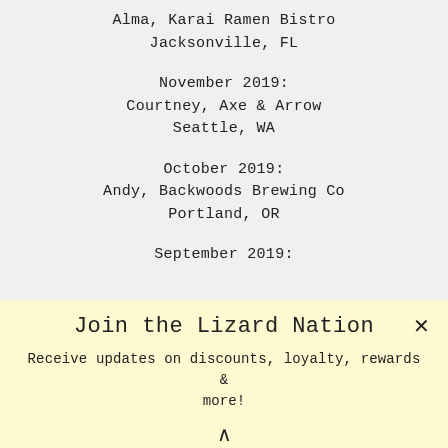Alma, Karai Ramen Bistro
Jacksonville, FL
November 2019:
Courtney, Axe & Arrow
Seattle, WA
October 2019:
Andy, Backwoods Brewing Co
Portland, OR
September 2019:
Join the Lizard Nation
Receive updates on discounts, loyalty, rewards & more!